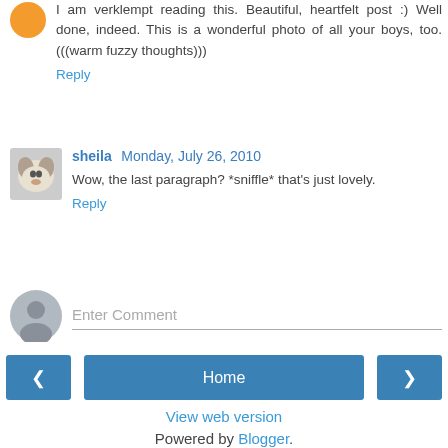I am verklempt reading this. Beautiful, heartfelt post :) Well done, indeed. This is a wonderful photo of all your boys, too. (((warm fuzzy thoughts)))
Reply
sheila  Monday, July 26, 2010
Wow, the last paragraph? *sniffle* that's just lovely.
Reply
Enter Comment
Home
View web version
Powered by Blogger.